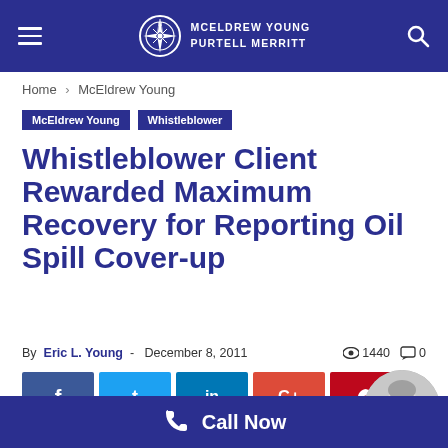McEldrew Young Purtell Merritt
Home › McEldrew Young
McEldrew Young   Whistleblower
Whistleblower Client Rewarded Maximum Recovery for Reporting Oil Spill Cover-up
By Eric L. Young - December 8, 2011  1440  0
[Figure (other): Social share buttons: Facebook, Twitter, LinkedIn, Google+, Pinterest]
[Figure (photo): Author photo of Eric L. Young, a gray-haired man]
Call Now